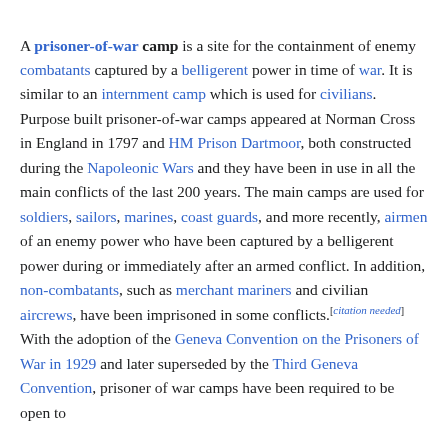A prisoner-of-war camp is a site for the containment of enemy combatants captured by a belligerent power in time of war. It is similar to an internment camp which is used for civilians. Purpose built prisoner-of-war camps appeared at Norman Cross in England in 1797 and HM Prison Dartmoor, both constructed during the Napoleonic Wars and they have been in use in all the main conflicts of the last 200 years. The main camps are used for soldiers, sailors, marines, coast guards, and more recently, airmen of an enemy power who have been captured by a belligerent power during or immediately after an armed conflict. In addition, non-combatants, such as merchant mariners and civilian aircrews, have been imprisoned in some conflicts.[citation needed] With the adoption of the Geneva Convention on the Prisoners of War in 1929 and later superseded by the Third Geneva Convention, prisoner of war camps have been required to be open to